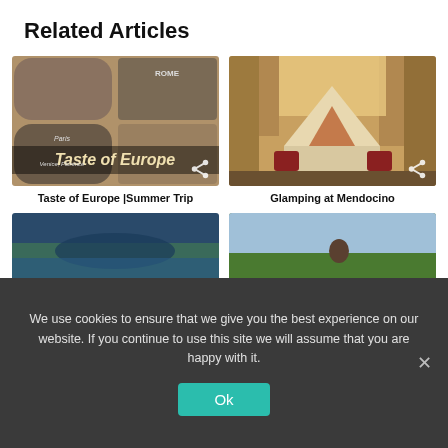Related Articles
[Figure (photo): Collage of family travel photos in Europe - Paris and Rome, with text 'Taste of Europe']
Taste of Europe |Summer Trip
[Figure (photo): Glamping tent in a forested area at Mendocino with leather chairs in front]
Glamping at Mendocino
[Figure (photo): Aerial coastal landscape view with water and cliffs]
[Figure (photo): Person on a hillside with trees and sky]
We use cookies to ensure that we give you the best experience on our website. If you continue to use this site we will assume that you are happy with it.